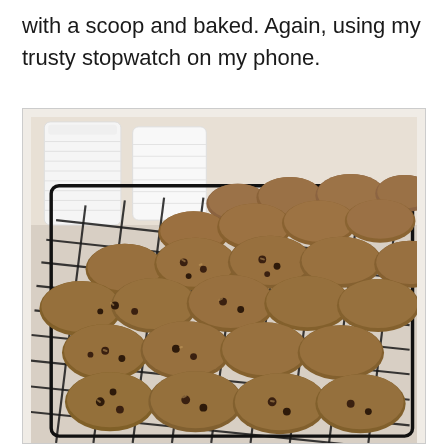with a scoop and baked. Again, using my trusty stopwatch on my phone.
[Figure (photo): Overhead photo of numerous baked oatmeal chocolate chip cookies arranged on a dark wire cooling rack, with two white ceramic canisters visible in the background on a light countertop.]